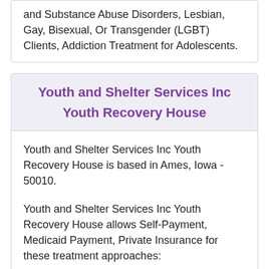and Substance Abuse Disorders, Lesbian, Gay, Bisexual, Or Transgender (LGBT) Clients, Addiction Treatment for Adolescents.
Youth and Shelter Services Inc Youth Recovery House
Youth and Shelter Services Inc Youth Recovery House is based in Ames, Iowa - 50010.
Youth and Shelter Services Inc Youth Recovery House allows Self-Payment, Medicaid Payment, Private Insurance for these treatment approaches: